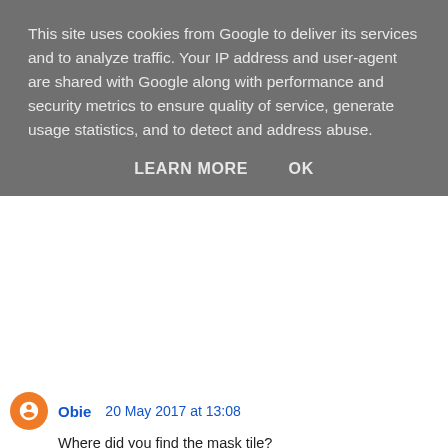This site uses cookies from Google to deliver its services and to analyze traffic. Your IP address and user-agent are shared with Google along with performance and security metrics to ensure quality of service, generate usage statistics, and to detect and address abuse.
LEARN MORE   OK
Obie  20 May 2017 at 13:08
Where did you find the mask tile?
Reply
▾ Replies
Mills  20 May 2017 at 13:29
i found it just where you told me to find the erasable floor: a right click on the circle tile !!!
Reply